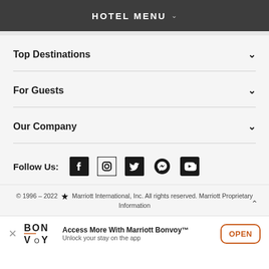HOTEL MENU
Top Destinations
For Guests
Our Company
Follow Us:
© 1996 – 2022 Marriott International, Inc. All rights reserved. Marriott Proprietary Information
Access More With Marriott Bonvoy™ Unlock your stay on the app